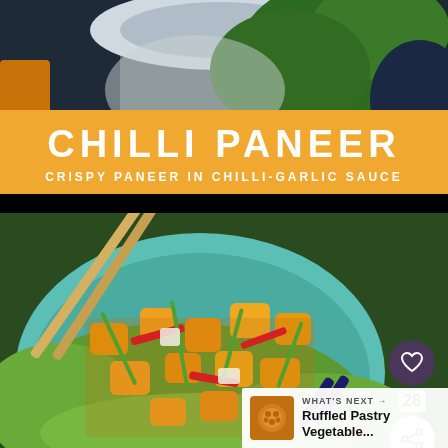[Figure (photo): Top portion of food photography showing green herbs, vegetables on a dark blue background]
CHILLI PANEER
CRISPY PANEER IN CHILLI-GARLIC SAUCE
[Figure (photo): Close-up photo of chilli paneer dish in a teal bowl with chopsticks, showing golden fried paneer cubes with red chilli strips and chopped spring onions]
28
WHAT'S NEXT → Ruffled Pastry Vegetable...